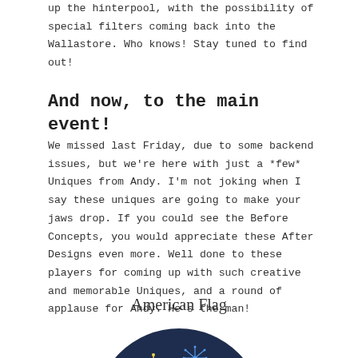up the hinterpool, with the possibility of special filters coming back into the Wallastore. Who knows! Stay tuned to find out!
And now, to the main event!
We missed last Friday, due to some backend issues, but we're here with just a *few* Uniques from Andy. I'm not joking when I say these uniques are going to make your jaws drop. If you could see the Before Concepts, you would appreciate these After Designs even more. Well done to these players for coming up with such creative and memorable Uniques, and a round of applause for Andy. He's the man!
American Flag
[Figure (illustration): A circular dark navy blue badge/emblem featuring a stylized eagle or bird with a red and white flowing American flag design, yellow fireworks/sparkles in the background.]